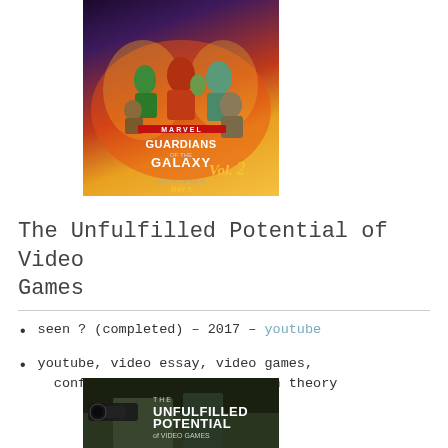[Figure (photo): Movie poster for Guardians of the Galaxy Vol. 2, showing Marvel superhero characters against a fiery background with title text and 'May 5' release date]
The Unfulfilled Potential of Video Games
seen ? (completed) – 2017 – youtube
youtube, video essay, video games, confrontation, ideology, fun theory
[Figure (screenshot): Thumbnail for 'The Unfulfilled Potential of Video Games' YouTube video, showing bold white text on a dark background with a game scene]